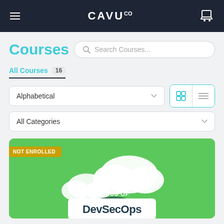CAVU co — Navigation header with hamburger menu and cart icon
Courses
Search Courses...
All Courses 16
Alphabetical
All Categories
[Figure (screenshot): Course card for DevSecOps with green background, cloud illustration, and 'NOT ENROLLED' badge. Text reads 'BASICS OF DevSecOps']